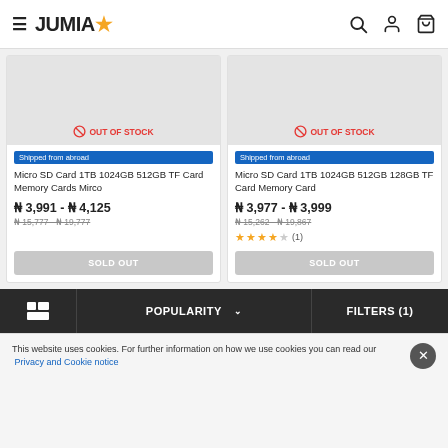JUMIA (logo with star)
OUT OF STOCK
Shipped from abroad
Micro SD Card 1TB 1024GB 512GB TF Card Memory Cards Mirco
₦ 3,991 - ₦ 4,125
₦ 15,777 - ₦ 19,777
SOLD OUT
OUT OF STOCK
Shipped from abroad
Micro SD Card 1TB 1024GB 512GB 128GB TF Card Memory Card
₦ 3,977 - ₦ 3,999
₦ 15,262 - ₦ 19,867
(1)
SOLD OUT
POPULARITY ∨  FILTERS (1)
This website uses cookies. For further information on how we use cookies you can read our Privacy and Cookie notice